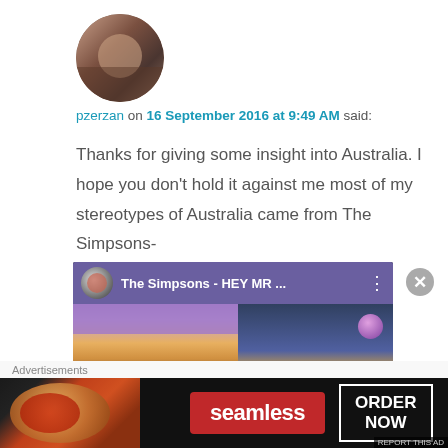[Figure (photo): Circular avatar photo of a person, sepia/warm tones, appears to be taken in a restaurant or bar setting]
pzerzan on 16 September 2016 at 9:49 AM said:
Thanks for giving some insight into Australia. I hope you don't hold it against me most of my stereotypes of Australia came from The Simpsons-
[Figure (screenshot): YouTube video thumbnail showing 'The Simpsons - HEY MR ...' with Simpsons characters visible]
Advertisements
[Figure (photo): Seamless food delivery advertisement banner showing pizza image, Seamless logo, and ORDER NOW button]